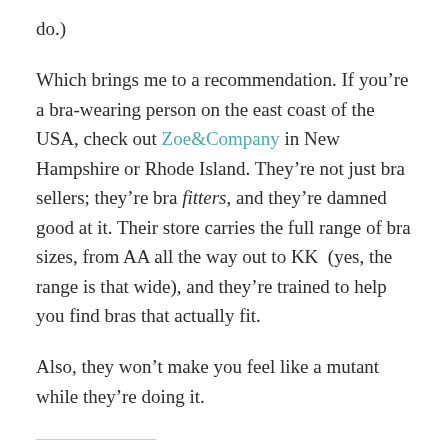do.)
Which brings me to a recommendation. If you’re a bra-wearing person on the east coast of the USA, check out Zoe&Company in New Hampshire or Rhode Island. They’re not just bra sellers; they’re bra fitters, and they’re damned good at it. Their store carries the full range of bra sizes, from AA all the way out to KK  (yes, the range is that wide), and they’re trained to help you find bras that actually fit.
Also, they won’t make you feel like a mutant while they’re doing it.
Share this: